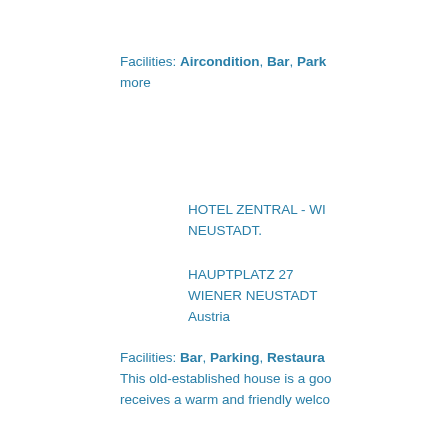Facilities: Aircondition, Bar, Park... more
HOTEL ZENTRAL - WI... NEUSTADT.
HAUPTPLATZ 27
WIENER NEUSTADT
Austria
Facilities: Bar, Parking, Restaura... This old-established house is a goo... receives a warm and friendly welco...
HILTON VIENNA
AM STADTPARK
VIENNA
Austria
Facilities: Aircondition, Bar, S...